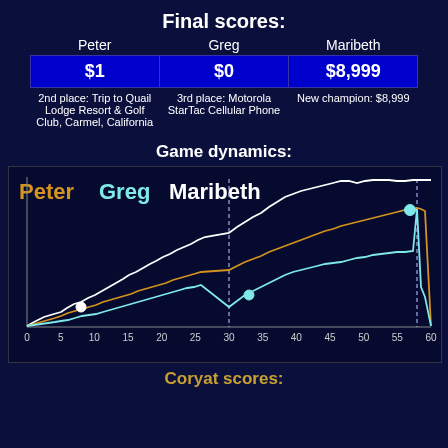Final scores:
| Peter | Greg | Maribeth |
| --- | --- | --- |
| $1 | $0 | $8,999 |
| 2nd place: Trip to Quail Lodge Resort & Golf Club, Carmel, California | 3rd place: Motorola StarTac Cellular Phone | New champion: $8,999 |
Game dynamics:
[Figure (line-chart): Line chart showing score progression over ~60 clues for three players: Peter (orange), Greg (cyan/blue), Maribeth (white). X-axis: 0 to 60. Vertical dashed lines at x=30 and x=58. Maribeth ends highest, Peter and Greg end lower.]
Coryat scores: